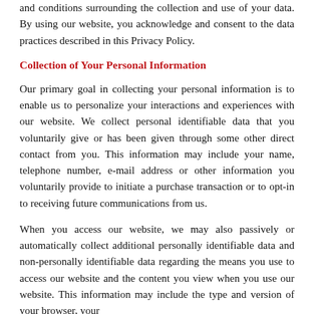and conditions surrounding the collection and use of your data. By using our website, you acknowledge and consent to the data practices described in this Privacy Policy.
Collection of Your Personal Information
Our primary goal in collecting your personal information is to enable us to personalize your interactions and experiences with our website. We collect personal identifiable data that you voluntarily give or has been given through some other direct contact from you. This information may include your name, telephone number, e-mail address or other information you voluntarily provide to initiate a purchase transaction or to opt-in to receiving future communications from us.
When you access our website, we may also passively or automatically collect additional personally identifiable data and non-personally identifiable data regarding the means you use to access our website and the content you view when you use our website. This information may include the type and version of your browser, your